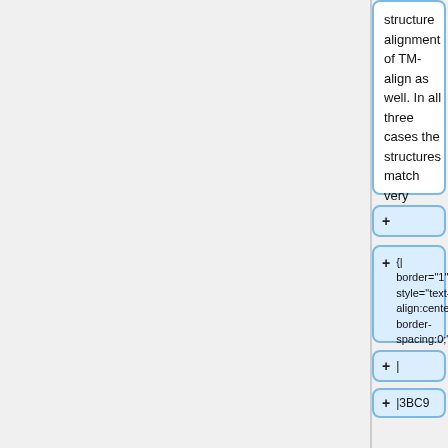structure alignment of TM-align as well. In all three cases the structures match very badly.
+ (empty)
+ {| border="1" style="text-align:center; border-spacing:0;"
+ |
+ |3BC9
+ |3CUI
+ |3LUT
+ |-
+ |RMSD (Pymol)
+ |26.271
+ |23.856